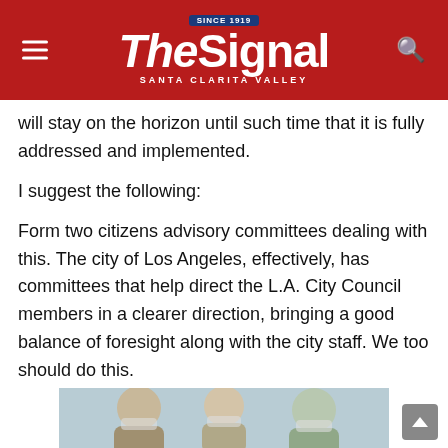The Signal — Santa Clarita Valley
will stay on the horizon until such time that it is fully addressed and implemented.
I suggest the following:
Form two citizens advisory committees dealing with this. The city of Los Angeles, effectively, has committees that help direct the L.A. City Council members in a clearer direction, bringing a good balance of foresight along with the city staff. We too should do this.
[Figure (photo): Photo of people, partially visible at the bottom of the page, appearing to be in a meeting or office setting wearing masks.]